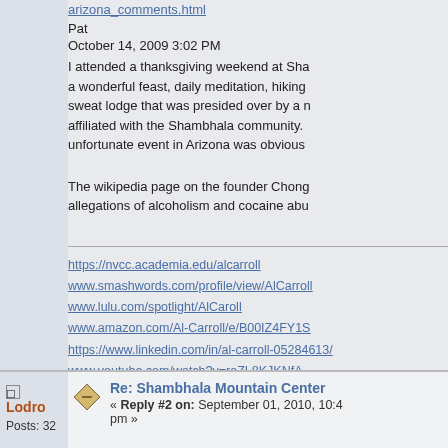arizona_comments.html
Pat
October 14, 2009 3:02 PM
I attended a thanksgiving weekend at Sha... a wonderful feast, daily meditation, hiking... sweat lodge that was presided over by a n... affiliated with the Shambhala community.... unfortunate event in Arizona was obvious...
The wikipedia page on the founder Chong... allegations of alcoholism and cocaine abu...
https://nvcc.academia.edu/alcarroll
www.smashwords.com/profile/view/AlCarroll
www.lulu.com/spotlight/AlCaroll
www.amazon.com/Al-Carroll/e/B00IZ4FY1S
https://www.linkedin.com/in/al-carroll-05284613/
www.youtube.com/watch?v=roZL8KJKNfA
https://www.indybay.org/newsitems/2016/01/20/1...
Lodro
Posts: 32
Re: Shambhala Mountain Center
« Reply #2 on: September 01, 2010, 10:4... pm »